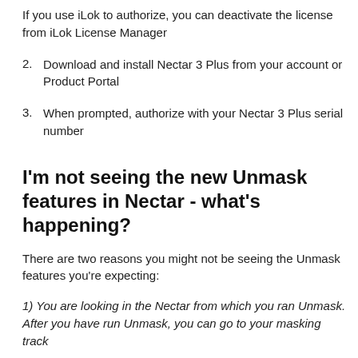If you use iLok to authorize, you can deactivate the license from iLok License Manager
2. Download and install Nectar 3 Plus from your account or Product Portal
3. When prompted, authorize with your Nectar 3 Plus serial number
I'm not seeing the new Unmask features in Nectar - what's happening?
There are two reasons you might not be seeing the Unmask features you're expecting:
1) You are looking in the Nectar from which you ran Unmask. After you have run Unmask, you can go to your masking track that contains the instance of iZotope Relay. Nectar 3 controls...